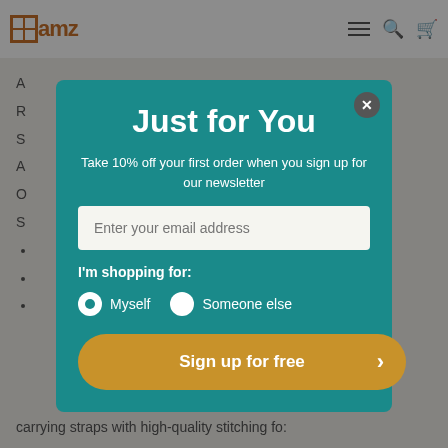[Figure (screenshot): E-commerce website page (luxamz) with a modal popup newsletter signup overlay. The modal has a teal background with title 'Just for You', subtitle about 10% off, email input, radio buttons for 'Myself'/'Someone else', and a gold 'Sign up for free' button. The background shows a navigation bar with logo and partial product page content.]
Just for You
Take 10% off your first order when you sign up for our newsletter
I'm shopping for:
Myself  Someone else
Sign up for free
carrying straps with high-quality stitching fo: